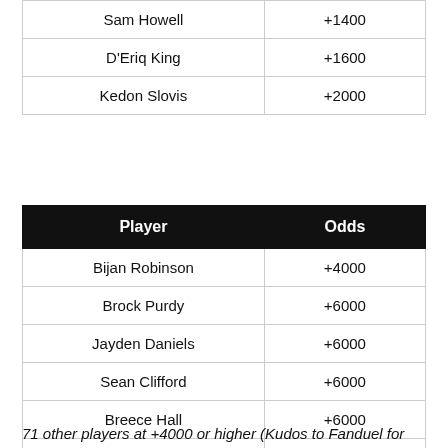| Sam Howell | +1400 |
| D'Eriq King | +1600 |
| Kedon Slovis | +2000 |
| Player | Odds |
| --- | --- |
| Bijan Robinson | +4000 |
| Brock Purdy | +6000 |
| Jayden Daniels | +6000 |
| Sean Clifford | +6000 |
| Breece Hall | +6000 |
| CJ Stroud | +6000 |
| Matt Corral | +8000 |
71 other players at +4000 or higher (Kudos to Fanduel for